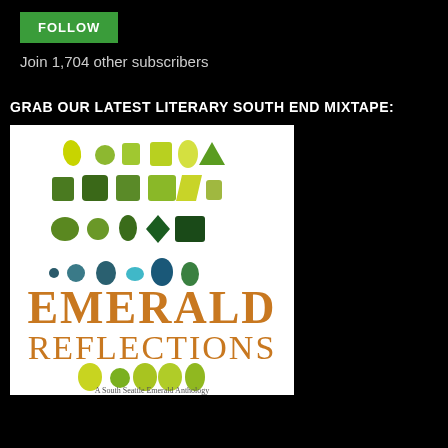FOLLOW
Join 1,704 other subscribers
GRAB OUR LATEST LITERARY SOUTH END MIXTAPE:
[Figure (illustration): Book cover for 'Emerald Reflections: A South Seattle Emerald Anthology' showing rows of green gemstones of various shapes and sizes above the title text in orange/gold, with more green gems below.]